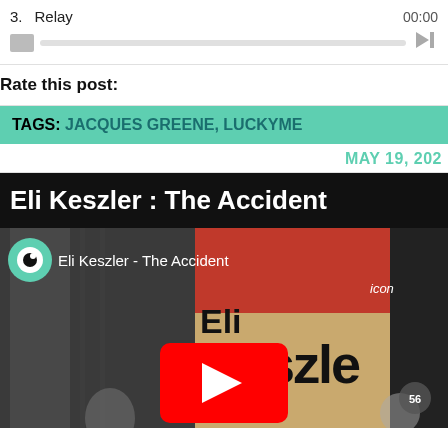3.  Relay  00:00
[audio player bar]
Rate this post:
TAGS: JACQUES GREENE, LUCKYME
MAY 19, 202
Eli Keszler : The Accident
[Figure (screenshot): YouTube video thumbnail for 'Eli Keszler - The Accident' showing a red background with large black text 'Eli Keszler', a YouTube play button in the center, and an eye icon logo in the upper left.]